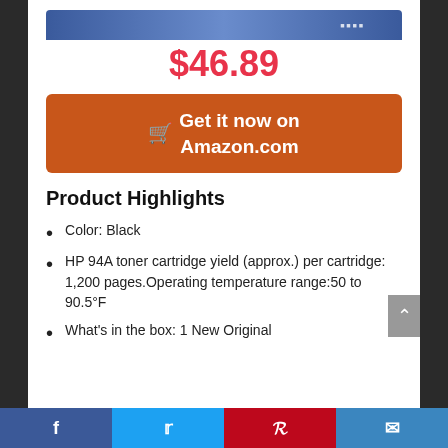[Figure (photo): Product image strip at top of page showing HP toner cartridge packaging]
$46.89
[Figure (other): Orange button with shopping cart icon reading 'Get it now on Amazon.com']
Product Highlights
Color: Black
HP 94A toner cartridge yield (approx.) per cartridge: 1,200 pages.Operating temperature range:50 to 90.5°F
What's in the box: 1 New Original
Facebook | Twitter | Pinterest | Email